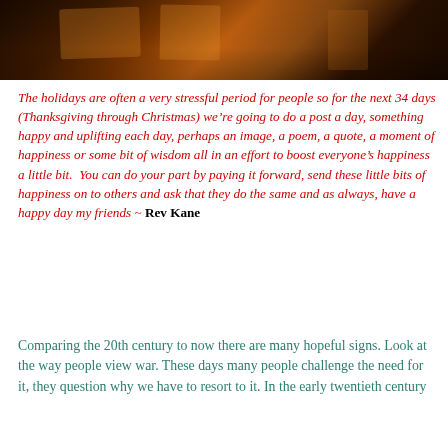[Figure (photo): Dark warm-toned photograph showing an interior scene with orange/amber lighting, hanging decorations or signs visible]
The holidays are often a very stressful period for people so for the next 34 days (Thanksgiving through Christmas) we're going to do a post a day, something happy and uplifting each day, perhaps an image, a poem, a quote, a moment of happiness or some bit of wisdom all in an effort to boost everyone's happiness a little bit.  You can do your part by paying it forward, send these little bits of happiness on to others and ask that they do the same and as always, have a happy day my friends ~ Rev Kane
Comparing the 20th century to now there are many hopeful signs. Look at the way people view war. These days many people challenge the need for it, they question why we have to resort to it. In the early twentieth century